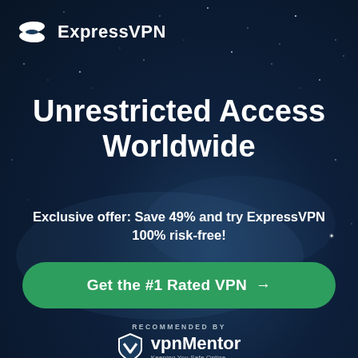[Figure (logo): ExpressVPN logo: white icon with two overlapping ellipses, followed by 'ExpressVPN' text in white bold font]
Unrestricted Access Worldwide
Exclusive offer: Save 49% and try ExpressVPN 100% risk-free!
[Figure (other): Green CTA button with text 'Get the #1 Rated VPN →']
RECOMMENDED BY
[Figure (logo): vpnMentor logo: white shield icon with V chevron, text 'vpnMentor' and tagline 'Keeping You Safe Online']